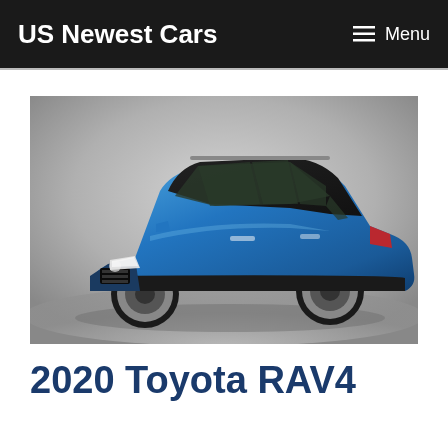US Newest Cars   ☰ Menu
[Figure (photo): Blue Toyota RAV4 SUV photographed on a grey gradient studio background, three-quarter front view showing the driver's side]
2020 Toyota RAV4